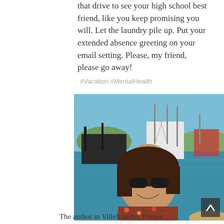that drive to see your high school best friend, like you keep promising you will. Let the laundry pile up. Put your extended absence greeting on your email setting. Please, my friend, please go away!
#Vacation #MentalHealth
[Figure (photo): A woman with dark hair and sunglasses smiling at a marina with sailboats and yachts in the background, in Villefranche, France. A scroll-up arrow button is visible in the lower right of the image.]
The author in Villefranche, France.